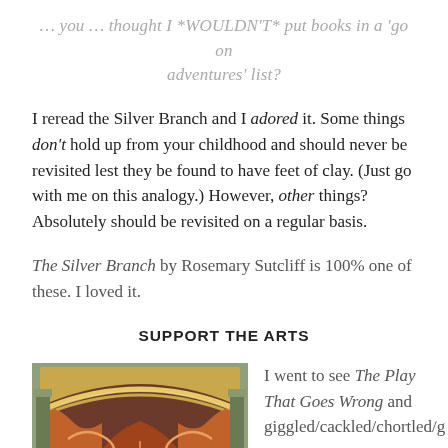… you … thought I *WOULDN'T* put books in a 'go on adventures' list?
I reread the Silver Branch and I adored it. Some things don't hold up from your childhood and should never be revisited lest they be found to have feet of clay. (Just go with me on this analogy.) However, other things? Absolutely should be revisited on a regular basis.
The Silver Branch by Rosemary Sutcliff is 100% one of these. I loved it.
SUPPORT THE ARTS
[Figure (photo): Theatre stage curtain with ornate golden arch, red/orange draped curtains, classical decoration]
I went to see The Play That Goes Wrong and giggled/cackled/chortled/g...